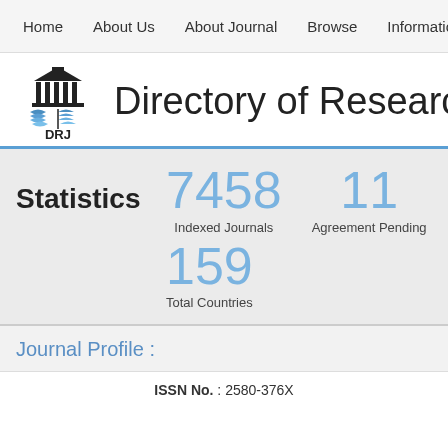Home   About Us   About Journal   Browse   Information
[Figure (logo): DRJ logo: building with columns above open book with blue wave pages, text DRJ below]
Directory of Research
Statistics
7458 Indexed Journals
11 Agreement Pending
159 Total Countries
Journal Profile :
ISSN No. : 2580-376X